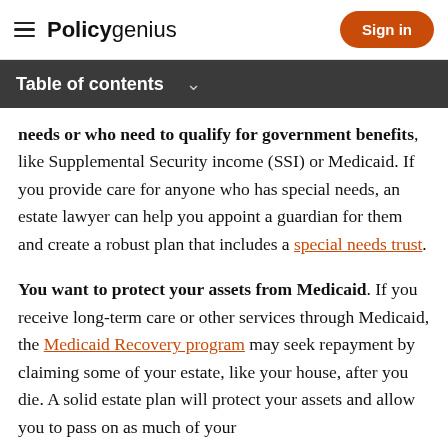Policygenius | Sign in
Table of contents
needs or who need to qualify for government benefits, like Supplemental Security income (SSI) or Medicaid. If you provide care for anyone who has special needs, an estate lawyer can help you appoint a guardian for them and create a robust plan that includes a special needs trust.
You want to protect your assets from Medicaid. If you receive long-term care or other services through Medicaid, the Medicaid Recovery program may seek repayment by claiming some of your estate, like your house, after you die. A solid estate plan will protect your assets and allow you to pass on as much of your